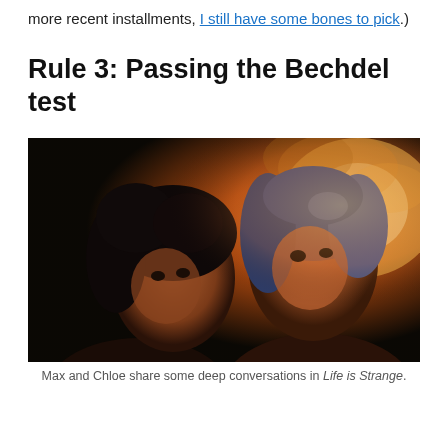more recent installments, I still have some bones to pick.)
Rule 3: Passing the Bechdel test
[Figure (photo): Two animated characters from Life is Strange — Max and Chloe — facing each other in close-up, with warm orange/golden backlight filtering through trees. Max is in the foreground on the left with dark hair, and Chloe is to the right with blue hair.]
Max and Chloe share some deep conversations in Life is Strange.